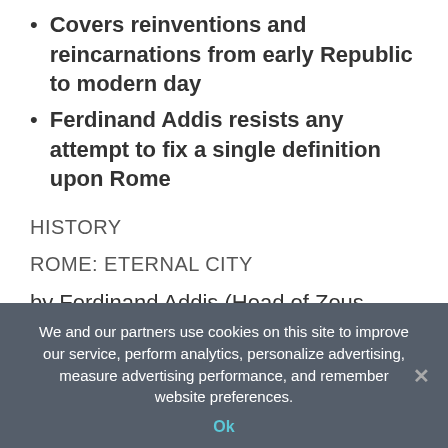Covers reinventions and reincarnations from early Republic to modern day
Ferdinand Addis resists any attempt to fix a single definition upon Rome
HISTORY
ROME: ETERNAL CITY
by Ferdinand Addis (Head of Zeus, £30, 648pp)
The history of Rome is peppered with boastful men. Undoubtedly, some were geniuses — but many more were monsters whose often gruesome antics ripple through
We and our partners use cookies on this site to improve our service, perform analytics, personalize advertising, measure advertising performance, and remember website preferences.